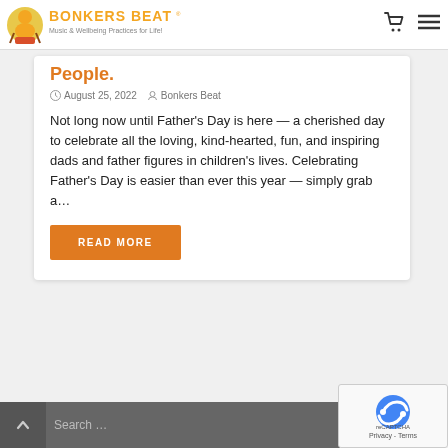Bonkers Beat — Music & Wellbeing Practices for Life!
People.
August 25, 2022  Bonkers Beat
Not long now until Father's Day is here — a cherished day to celebrate all the loving, kind-hearted, fun, and inspiring dads and father figures in children's lives. Celebrating Father's Day is easier than ever this year — simply grab a…
READ MORE
Search ...
[Figure (logo): Bonkers Beat logo with cartoon character and text 'Music & Wellbeing Practices for Life!']
[Figure (other): reCAPTCHA badge with Privacy - Terms text]